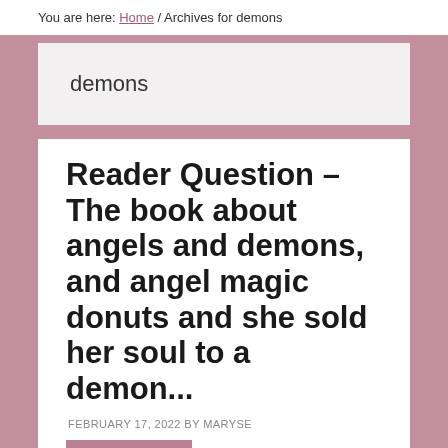You are here: Home / Archives for demons
demons
Reader Question – The book about angels and demons, and angel magic donuts and she sold her soul to a demon...
FEBRUARY 17, 2022 BY MARYSE
2 COMMENTS